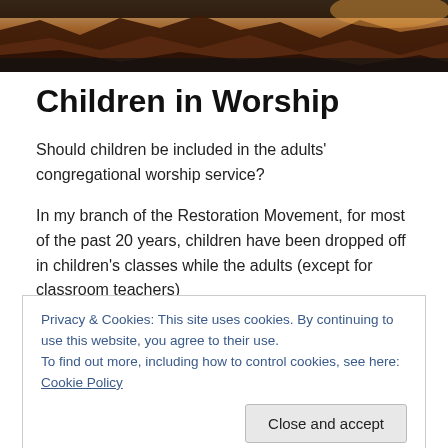[Figure (photo): Landscape photo of rocky canyon terrain with warm reddish-brown tones at the top of the page]
Children in Worship
Should children be included in the adults' congregational worship service?
In my branch of the Restoration Movement, for most of the past 20 years, children have been dropped off in children's classes while the adults (except for classroom teachers)
Privacy & Cookies: This site uses cookies. By continuing to use this website, you agree to their use.
To find out more, including how to control cookies, see here: Cookie Policy
surprising that it seemed like a good idea to get all those